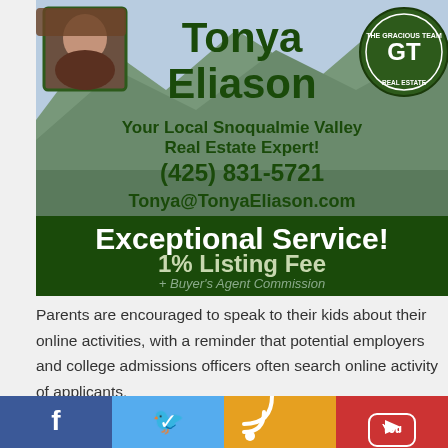[Figure (photo): Real estate advertisement for Tonya Eliason, local Snoqualmie Valley real estate expert, showing agent photo, name, contact info, and green branding with mountainous landscape background]
Parents are encouraged to speak to their kids about their online activities, with a reminder that potential employers and college admissions officers often search online activity of applicants.
[Figure (photo): Partially visible photo at bottom of page showing outdoor scene]
[Figure (infographic): Social media bar with Facebook, Twitter, RSS, and YouTube icons]